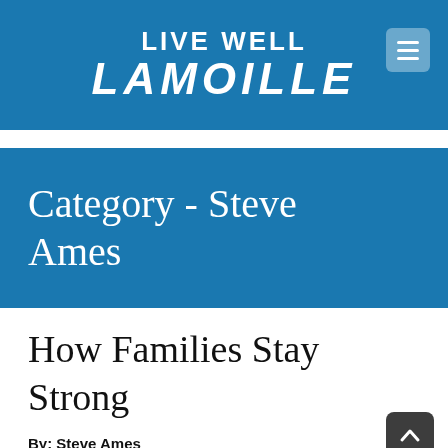LIVE WELL LAMOILLE
Category - Steve Ames
How Families Stay Strong
By: Steve Ames
[Figure (photo): Partial photo strip visible at bottom of page, showing interior/domestic scene in warm brown tones]